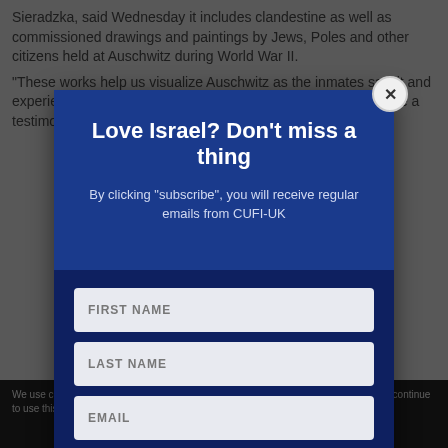Sieradzka, said Wednesday it includes clandestine as well as commissioned drawings and paintings by Jews, Poles and other citizens held at Auschwitz during World War II.
"These works help us visualize Auschwitz as the inmates saw it and experienced it," Sieradzka told The Associated Press. "They are a testimony to the artistic inmates."
We use cookies to ensure that we give you the best experience on our website. If you continue to use this site we will assume that you are happy with it.
Love Israel? Don't miss a thing
By clicking “subscribe”, you will receive regular emails from CUFI-UK
FIRST NAME
LAST NAME
EMAIL
SUBSCRIBE!